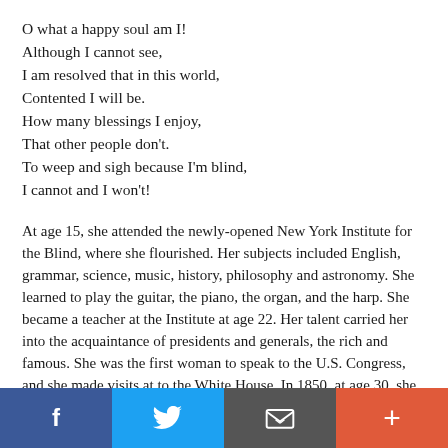O what a happy soul am I!
Although I cannot see,
I am resolved that in this world,
Contented I will be.
How many blessings I enjoy,
That other people don’t.
To weep and sigh because I’m blind,
I cannot and I won’t!
At age 15, she attended the newly-opened New York Institute for the Blind, where she flourished. Her subjects included English, grammar, science, music, history, philosophy and astronomy. She learned to play the guitar, the piano, the organ, and the harp. She became a teacher at the Institute at age 22. Her talent carried her into the acquaintance of presidents and generals, the rich and famous. She was the first woman to speak to the U.S. Congress, and she made visits at to the White House. In 1850, at age 30, she was converted at a revival at a Methodist Episcopal church. She said it occurred through the last line of Isaac Watts’ “Alas, and Did My Saviour Bleed?” “But drops of grief can ne’er repay the
[Figure (other): Social media share bar with four buttons: Facebook (blue, f icon), Twitter (light blue, bird icon), Email (dark gray, envelope icon), and a plus/add button (orange-red)]